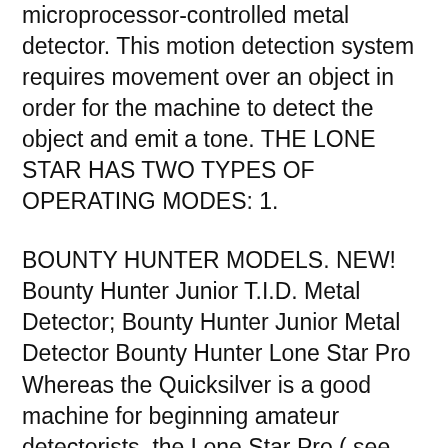microprocessor-controlled metal detector. This motion detection system requires movement over an object in order for the machine to detect the object and emit a tone. THE LONE STAR HAS TWO TYPES OF OPERATING MODES: 1.
BOUNTY HUNTER MODELS. NEW! Bounty Hunter Junior T.I.D. Metal Detector; Bounty Hunter Junior Metal Detector Bounty Hunter Lone Star Pro Whereas the Quicksilver is a good machine for beginning amateur detectorists, the Lone Star Pro ( see todayвЂ™s price ) is a notch above the performance of that detector. ItвЂ™s good for people who have some